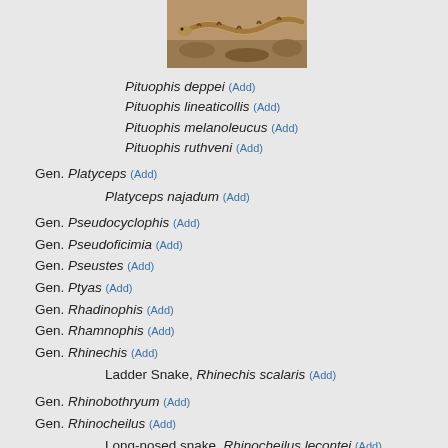[Figure (photo): Photo of a snake (Pituophis species) on rocky/sandy ground]
Pituophis deppei (Add)
Pituophis lineaticollis (Add)
Pituophis melanoleucus (Add)
Pituophis ruthveni (Add)
Gen. Platyceps (Add)
Platyceps najadum (Add)
Gen. Pseudocyclophis (Add)
Gen. Pseudoficimia (Add)
Gen. Pseustes (Add)
Gen. Ptyas (Add)
Gen. Rhadinophis (Add)
Gen. Rhamnophis (Add)
Gen. Rhinechis (Add)
Ladder Snake, Rhinechis scalaris (Add)
Gen. Rhinobothryum (Add)
Gen. Rhinocheilus (Add)
Long-nosed snake, Rhinocheilus lecontei (Add)
Gen. Rhynchocalamus (Add)
Gen. Rhynchophis (Add)
Gen. Salvadora (Add)
Gen. Scaphiodontophis (Add)
Gen. Scolecophis (Add)